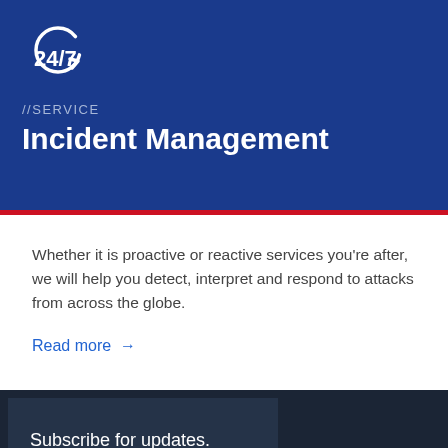[Figure (logo): 24/7 clock icon with circular arrow, white on dark blue background]
//SERVICE
Incident Management
Whether it is proactive or reactive services you’re after, we will help you detect, interpret and respond to attacks from across the globe.
Read more →
Subscribe for updates.